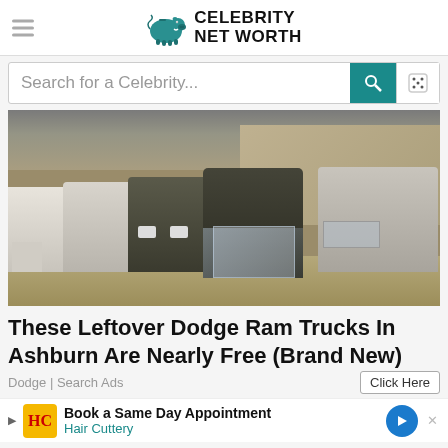[Figure (logo): Celebrity Net Worth logo with teal piggy bank icon and bold text]
Search for a Celebrity...
[Figure (photo): Row of Dodge Ram trucks covered in plastic wrap parked inside a warehouse with sandy floor]
These Leftover Dodge Ram Trucks In Ashburn Are Nearly Free (Brand New)
Dodge | Search Ads
[Figure (infographic): Hair Cuttery ad banner: Book a Same Day Appointment - Hair Cuttery with yellow HC logo and blue navigation arrow]